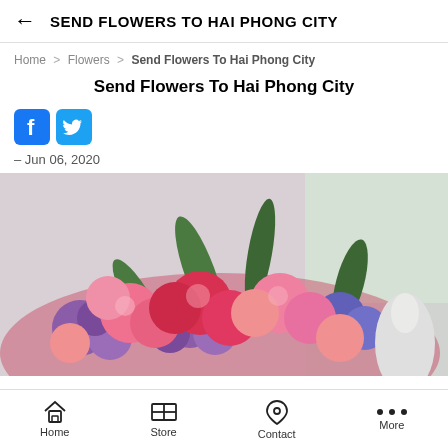SEND FLOWERS TO HAI PHONG CITY
Home > Flowers > Send Flowers To Hai Phong City
Send Flowers To Hai Phong City
[Figure (other): Facebook and Twitter social share icons]
– Jun 06, 2020
[Figure (photo): A colorful bouquet of pink, red, and purple flowers including roses and small purple blooms, photographed against a light background near a window]
Home  Store  Contact  More